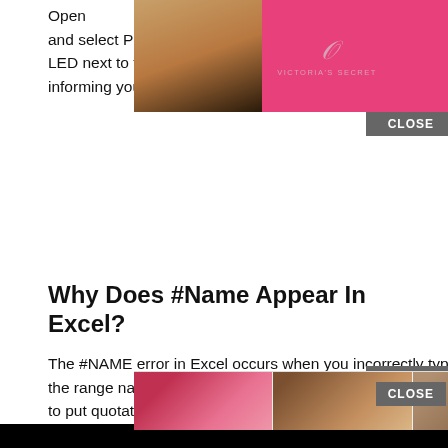Open [folder], and select Photo Booth. As soon as Photo Booth starts, the LED next to the built-in iSight camera should turn on, informing you that the camera is activated.
[Figure (screenshot): Victoria's Secret advertisement banner overlaying the top of the page, with a model photo, VS logo, 'SHOP THE COLLECTION' text, and 'SHOP NOW' button, plus a 'CLOSE' button]
Why Does #Name Appear In Excel?
The #NAME error in Excel occurs when you incorrectly type the range name, refer to a deleted range name, or forget to put quotation marks around a text string in a formula. This error would have been noticed first in Excel 2000. It can appear for various reasons, usually because of a misspelled formula.
[Figure (screenshot): Black video player overlay covering right portion of page with close X button]
Why Can't I Hear Anything O[n] You[r Mac?]
[Figure (screenshot): Ulta Beauty advertisement strip at bottom with makeup model thumbnails and 'SHOP NOW' button, plus 'CLOSE' button]